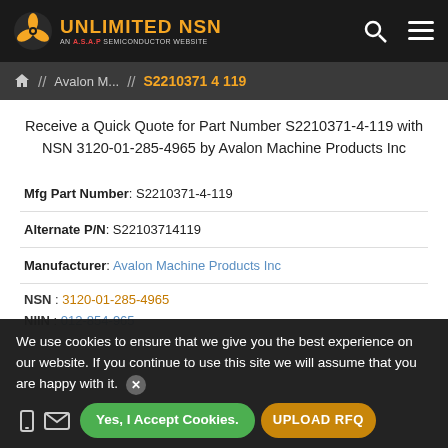UNLIMITED NSN — AN A.S.A.P SEMICONDUCTOR WEBSITE
Home // Avalon M... // S2210371 4 119
Receive a Quick Quote for Part Number S2210371-4-119 with NSN 3120-01-285-4965 by Avalon Machine Products Inc
| Field | Value |
| --- | --- |
| Mfg Part Number | S2210371-4-119 |
| Alternate P/N | S22103714119 |
| Manufacturer | Avalon Machine Products Inc |
| NSN | 3120-01-285-4965 |
| NIIN | 012-854-965 |
We use cookies to ensure that we give you the best experience on our website. If you continue to use this site we will assume that you are happy with it.
Yes, I Accept Cookies.